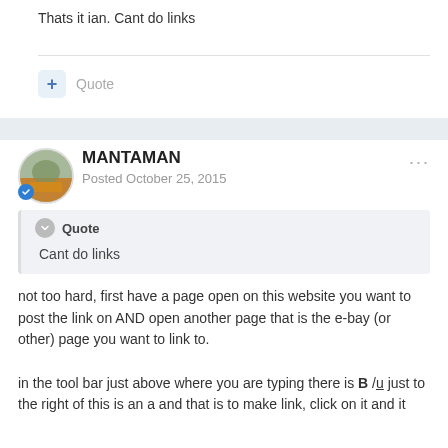Thats it ian. Cant do links
Quote
MANTAMAN
Posted October 25, 2015
Quote
Cant do links
not too hard, first have a page open on this website you want to post the link on AND open another page that is the e-bay (or other) page you want to link to.
in the tool bar just above where you are typing there is B /u just to the right of this is an a and that is to make link, click on it and it